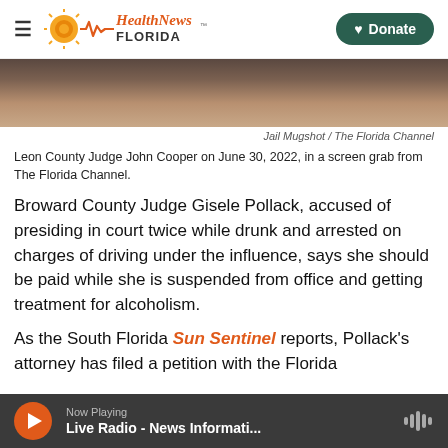Health News Florida — Donate
[Figure (photo): Partial face photo (jail mugshot) of a person with brown hair, cropped to show forehead and hair only.]
Jail Mugshot / The Florida Channel
Leon County Judge John Cooper on June 30, 2022, in a screen grab from The Florida Channel.
Broward County Judge Gisele Pollack, accused of presiding in court twice while drunk and arrested on charges of driving under the influence, says she should be paid while she is suspended from office and getting treatment for alcoholism.
As the South Florida Sun Sentinel reports, Pollack's attorney has filed a petition with the Florida
Now Playing — Live Radio - News Informati...